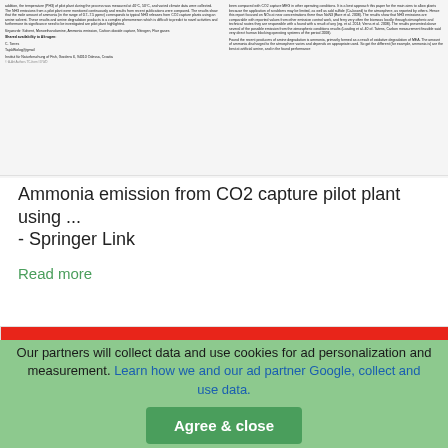[Figure (screenshot): Thumbnail preview of a scientific paper showing two-column text layout with title, abstract, keywords, and author information]
Ammonia emission from CO2 capture pilot plant using ... - Springer Link
Read more
[Figure (infographic): IntechOpen red banner reading: We are IntechOpen, the world's leading publisher of Open Access books. Built by scientists, for scientists.]
Our partners will collect data and use cookies for ad personalization and measurement. Learn how we and our ad partner Google, collect and use data. Agree & close